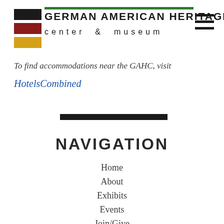GERMAN AMERICAN HERITAGE center & museum
To find accommodations near the GAHC, visit
HotelsCombined
NAVIGATION
Home
About
Exhibits
Events
Join/Give
Education
Banquet Hall
Contact